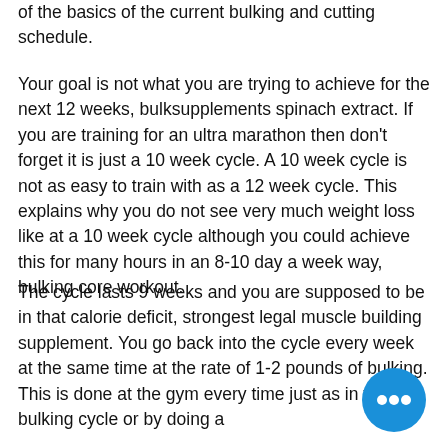of the basics of the current bulking and cutting schedule.
Your goal is not what you are trying to achieve for the next 12 weeks, bulksupplements spinach extract. If you are training for an ultra marathon then don't forget it is just a 10 week cycle. A 10 week cycle is not as easy to train with as a 12 week cycle. This explains why you do not see very much weight loss like at a 10 week cycle although you could achieve this for many hours in an 8-10 day a week way, bulking core workout.
The cycle lasts 9 weeks and you are supposed to be in that calorie deficit, strongest legal muscle building supplement. You go back into the cycle every week at the same time at the rate of 1-2 pounds of bulking. This is done at the gym every time just as in your bulking cycle or by doing a